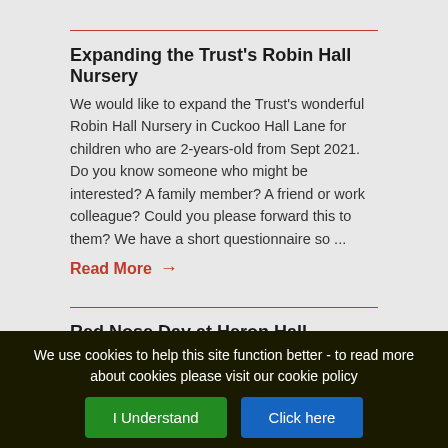Expanding the Trust's Robin Hall Nursery
We would like to expand the Trust's wonderful Robin Hall Nursery in Cuckoo Hall Lane for children who are 2-years-old from Sept 2021. Do you know someone who might be interested? A family member? A friend or work colleague? Could you please forward this to them? We have a short questionnaire so ...
Read More →
Red Nose Day at Heron Hall
On Friday 19th of March, we will be celebrating Red Nose Day. We are asking students to donate £1 in order to wear one item of red clothing.All of the money we raise from the day will be going to Comic Relief and The Methodist Boys High School in Sierra Leone.We have been developing a
We use cookies to help this site function better - to read more about cookies please visit our cookie policy
I Understand
Click here